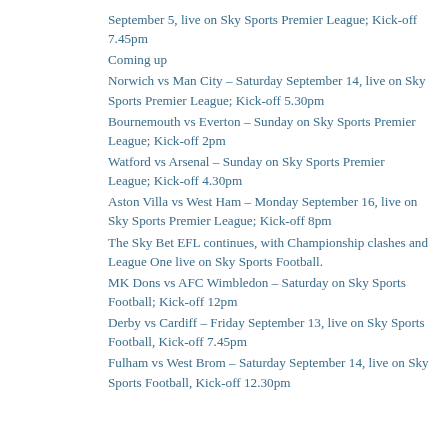September 5, live on Sky Sports Premier League; Kick-off 7.45pm
Coming up
Norwich vs Man City – Saturday September 14, live on Sky Sports Premier League; Kick-off 5.30pm
Bournemouth vs Everton – Sunday on Sky Sports Premier League; Kick-off 2pm
Watford vs Arsenal – Sunday on Sky Sports Premier League; Kick-off 4.30pm
Aston Villa vs West Ham – Monday September 16, live on Sky Sports Premier League; Kick-off 8pm
The Sky Bet EFL continues, with Championship clashes and League One live on Sky Sports Football.
MK Dons vs AFC Wimbledon – Saturday on Sky Sports Football; Kick-off 12pm
Derby vs Cardiff – Friday September 13, live on Sky Sports Football, Kick-off 7.45pm
Fulham vs West Brom – Saturday September 14, live on Sky Sports Football, Kick-off 12.30pm